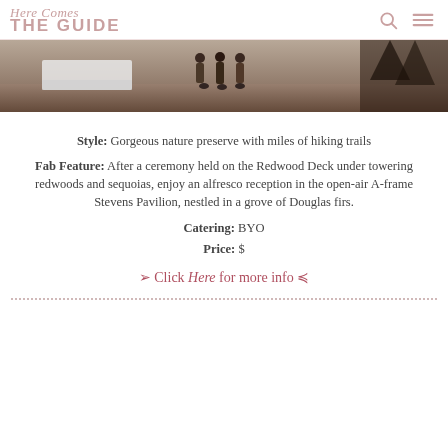Here Comes THE GUIDE
[Figure (photo): Outdoor wedding venue photo showing people standing near white-draped tables on a patio or deck area, with trees in the background at dusk or evening]
Style: Gorgeous nature preserve with miles of hiking trails
Fab Feature: After a ceremony held on the Redwood Deck under towering redwoods and sequoias, enjoy an alfresco reception in the open-air A-frame Stevens Pavilion, nestled in a grove of Douglas firs.
Catering: BYO
Price: $
➢ Click Here for more info ≤